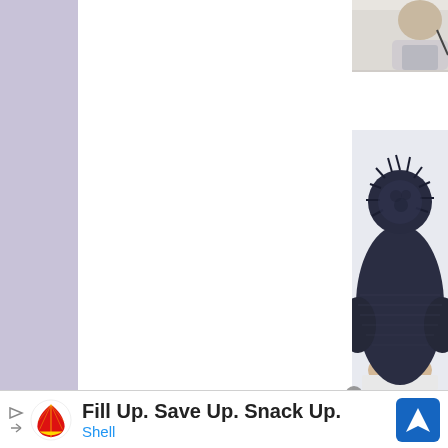[Figure (photo): Partial view of a person's head/shoulder area, top-right corner of page, light colored background]
[Figure (photo): Back view of a child wearing a dark navy blue knitted hat with a large pom-pom on top and ear flaps, shown from behind against a light background]
[Figure (infographic): Shell advertisement banner at bottom of page. Shows Shell logo (red/yellow shell icon), text 'Fill Up. Save Up. Snack Up.' in bold black, 'Shell' in blue text below, and a blue navigation/directions icon on the right. Small play and close icons on the left side.]